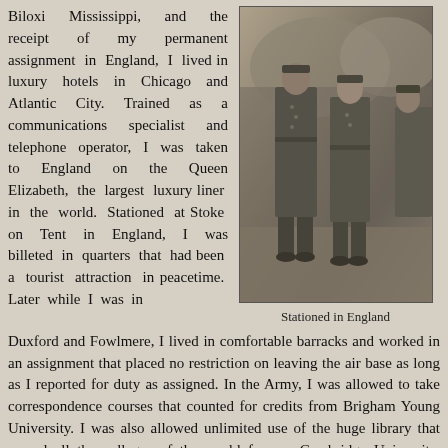Biloxi Mississippi, and the receipt of my permanent assignment in England, I lived in luxury hotels in Chicago and Atlantic City. Trained as a communications specialist and telephone operator, I was taken to England on the Queen Elizabeth, the largest luxury liner in the world. Stationed at Stoke on Tent in England, I was billeted in quarters that had been a tourist attraction in peacetime. Later while I was in
[Figure (photo): Black and white photograph of soldiers in military uniform standing together, captioned 'Stationed in England']
Stationed in England
Duxford and Fowlmere, I lived in comfortable barracks and worked in an assignment that placed no restriction on leaving the air base as long as I reported for duty as assigned. In the Army, I was allowed to take correspondence courses that counted for credits from Brigham Young University. I was also allowed unlimited use of the huge library that served all the colleges of the world famous Cambridge University, where I studied for the entrance exams I would later take at BYU, and I was allowed to